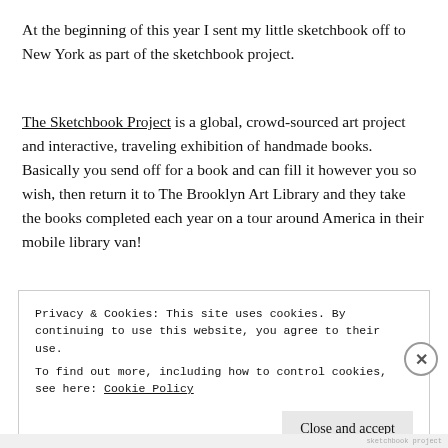At the beginning of this year I sent my little sketchbook off to New York as part of the sketchbook project.
The Sketchbook Project is a global, crowd-sourced art project and interactive, traveling exhibition of handmade books. Basically you send off for a book and can fill it however you so wish, then return it to The Brooklyn Art Library and they take the books completed each year on a tour around America in their mobile library van!
Privacy & Cookies: This site uses cookies. By continuing to use this website, you agree to their use. To find out more, including how to control cookies, see here: Cookie Policy
Close and accept